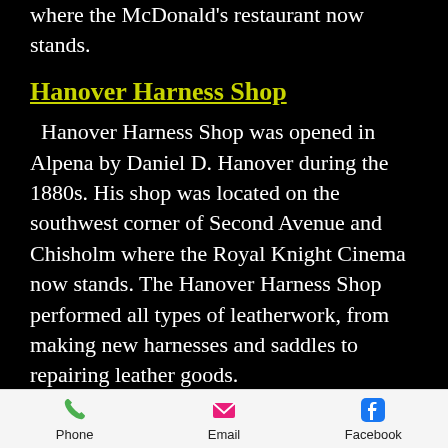where the McDonald's restaurant now stands.
Hanover Harness Shop
Hanover Harness Shop was opened in Alpena by Daniel D. Hanover during the 1880s. His shop was located on the southwest corner of Second Avenue and Chisholm where the Royal Knight Cinema now stands. The Hanover Harness Shop performed all types of leatherwork, from making new harnesses and saddles to repairing leather goods.
Phone   Email   Facebook